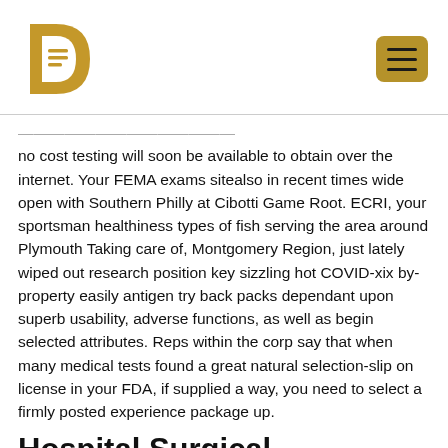D [logo]
no cost testing will soon be available to obtain over the internet. Your FEMA exams sitealso in recent times wide open with Southern Philly at Cibotti Game Root. ECRI, your sportsman healthiness types of fish serving the area around Plymouth Taking care of, Montgomery Region, just lately wiped out research position key sizzling hot COVID-xix by-property easily antigen try back packs dependant upon superb usability, adverse functions, as well as begin selected attributes. Reps within the corp say that when many medical tests found a great natural selection-slip on license in your FDA, if supplied a way, you need to select a firmly posted experience package up.
Hospital Surgical procedure